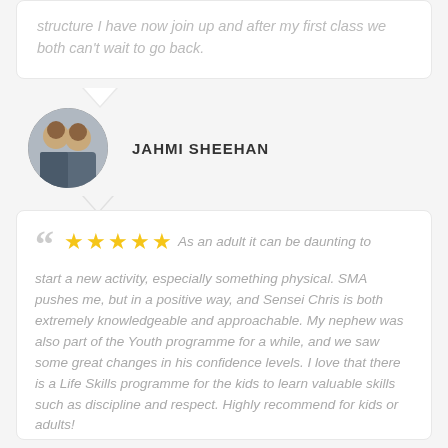structure I have now join up and after my first class we both can't wait to go back.
JAHMI SHEEHAN
As an adult it can be daunting to start a new activity, especially something physical. SMA pushes me, but in a positive way, and Sensei Chris is both extremely knowledgeable and approachable. My nephew was also part of the Youth programme for a while, and we saw some great changes in his confidence levels. I love that there is a Life Skills programme for the kids to learn valuable skills such as discipline and respect. Highly recommend for kids or adults!